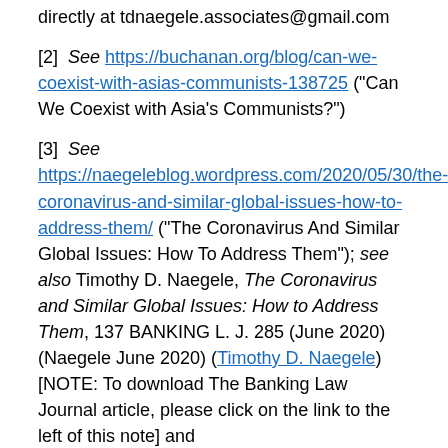directly at tdnaegele.associates@gmail.com
[2]  See https://buchanan.org/blog/can-we-coexist-with-asias-communists-138725 ("Can We Coexist with Asia's Communists?")
[3]  See https://naegeleblog.wordpress.com/2020/05/30/the-coronavirus-and-similar-global-issues-how-to-address-them/ ("The Coronavirus And Similar Global Issues: How To Address Them"); see also Timothy D. Naegele, The Coronavirus and Similar Global Issues: How to Address Them, 137 BANKING L. J. 285 (June 2020) (Naegele June 2020) (Timothy D. Naegele) [NOTE: To download The Banking Law Journal article, please click on the link to the left of this note] and https://naegeleblog.wordpress.com/2020/05/12/coexistence-with-chinas-communists/ ("Coexistence With China: Can We?")